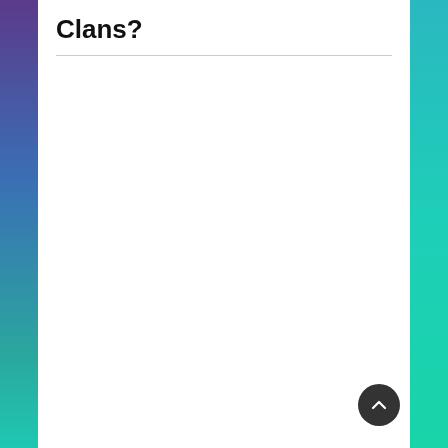Clans?
[Figure (other): Scroll-to-top circular button with upward arrow icon]